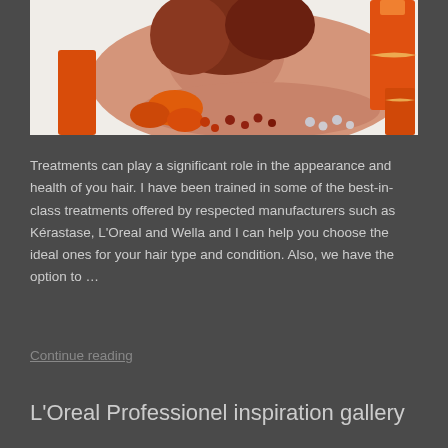[Figure (photo): A woman with reddish-brown hair lying down surrounded by orange candles, flowers, and spa decorations on a white surface]
Treatments can play a significant role in the appearance and health of you hair. I have been trained in some of the best-in-class treatments offered by respected manufacturers such as Kérastase, L'Oreal and Wella and I can help you choose the ideal ones for your hair type and condition. Also, we have the option to …
Continue reading
L'Oreal Professionel inspiration gallery